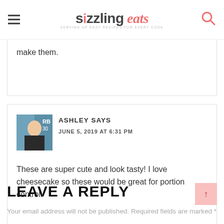SIZZLING eats — Serving up easy recipes for every cook
make them.
ASHLEY SAYS
JUNE 5, 2019 AT 6:31 PM

These are super cute and look tasty! I love cheesecake so these would be great for portion control.
LEAVE A REPLY
Your email address will not be published. Required fields are marked *